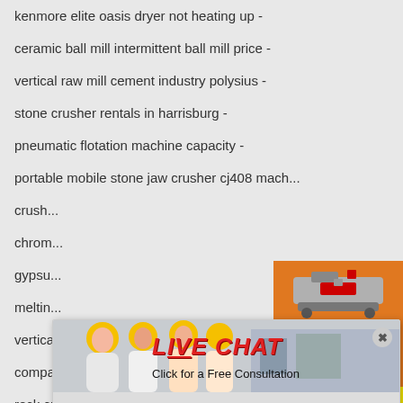kenmore elite oasis dryer not heating up -
ceramic ball mill intermittent ball mill price -
vertical raw mill cement industry polysius -
stone crusher rentals in harrisburg -
pneumatic flotation machine capacity -
portable mobile stone jaw crusher cj408 mach...
crush...
chrom...
gypsu...
meltin...
vertical roller mill cement plant in eldoret -
compactors inc glass bottle crusher the glassh...
rock crusher for salesmall -   mining crusher i...
important questions in coal mining -
sanghi cement standards -
crushers extec mobile in azerbaijan -
[Figure (screenshot): Live chat popup overlay with workers in hard hats, LIVE CHAT heading, 'Click for a Free Consultation' subtext, 'Chat now' and 'Chat later' buttons]
[Figure (infographic): Orange ad panel with mining machinery images, 'Enjoy 3% discount', 'Click to Chat', 'Enquiry', and 'limingjlmofen@sina.com' contact info]